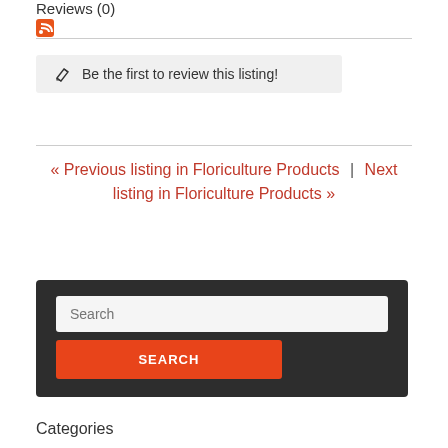Reviews (0)
[Figure (other): RSS feed icon (orange)]
Be the first to review this listing!
« Previous listing in Floriculture Products | Next listing in Floriculture Products »
[Figure (screenshot): Search box with text input placeholder 'Search' and orange SEARCH button on dark background]
Categories